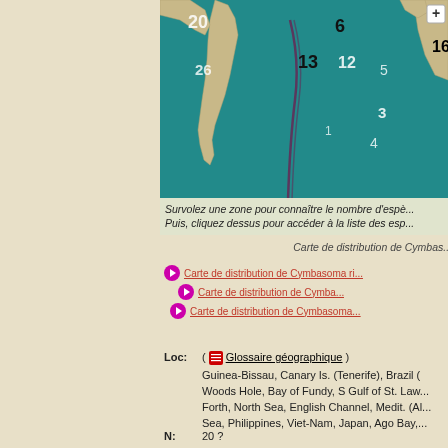[Figure (map): World ocean map showing distribution zones numbered 20, 6, 13, 12, 26, 5, 3, 4, 16 with a + button, depicting species distribution for Cymbasoma. Teal/blue ocean with continental landmasses visible.]
Survolez une zone pour connaître le nombre d'espè... Puis, cliquez dessus pour accéder à la liste des esp...
Carte de distribution de Cymbas...
Carte de distribution de Cymbasoma ri...
Carte de distribution de Cymba...
Carte de distribution de Cymbasoma...
Loc: ( Glossaire géographique ) Guinea-Bissau, Canary Is. (Tenerife), Brazil (... Woods Hole, Bay of Fundy, S Gulf of St. Law... Forth, North Sea, English Channel, Medit. (Al... Sea, Philippines, Viet-Nam, Japan, Ago Bay,...
N: 20 ?